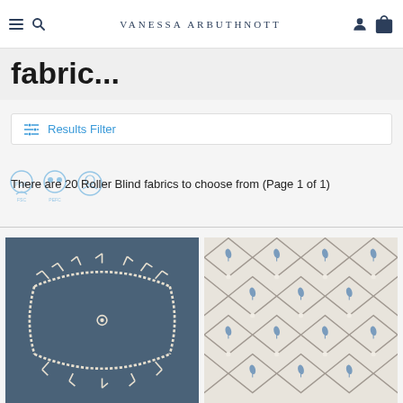Vanessa Arbuthnott
fabric...
Results Filter
There are 20 Roller Blind fabrics to choose from (Page 1 of 1)
[Figure (photo): Dark blue fabric with white embroidered floral/botanical swag design]
[Figure (photo): Light grey and cream geometric diamond lattice pattern with small blue leaf motifs]